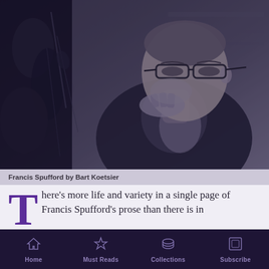[Figure (photo): Black and white portrait photograph of Francis Spufford, a bespectacled middle-aged man in a dark jacket, resting his chin on his hand, with foliage on the left side.]
Francis Spufford by Bart Koetsier
There's more life and variety in a single page of Francis Spufford's prose than there is in
Home | Must Reads | Collections | Subscribe